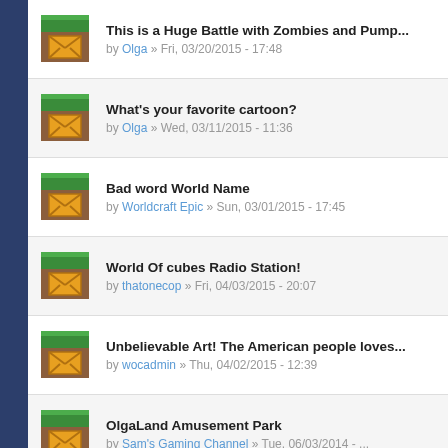This is a Huge Battle with Zombies and Pump... by Olga » Fri, 03/20/2015 - 17:48
What's your favorite cartoon? by Olga » Wed, 03/11/2015 - 11:36
Bad word World Name by Worldcraft Epic » Sun, 03/01/2015 - 17:45
World Of cubes Radio Station! by thatonecop » Fri, 04/03/2015 - 20:07
Unbelievable Art! The American people loves by wocadmin » Thu, 04/02/2015 - 12:39
OlgaLand Amusement Park by Sam's Gaming Channel » Tue, 06/03/2014 - ...
Chatting with the creators by Daniellian » Mon, 01/06/2014 - 19:06
got banned? come here to try to fix it